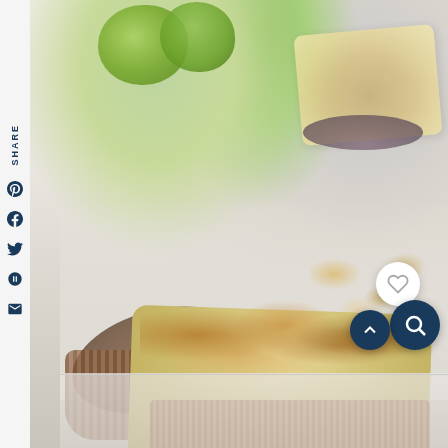[Figure (photo): Food blog page showing a close-up photograph of a dessert bar (likely a key lime bar or almond crumble bar) with toasted almond slices on top, sitting in a striped cupcake/muffin wrapper. Background shows limes, scattered almond flakes, and additional dessert bars on dark plates on a white surface. Left side has a vertical social share sidebar with SHARE text and icons for Pinterest, Facebook, Twitter, Yummly, and Email. Bottom right overlay shows UI buttons: heart/favorite (white circle), search (dark circle), and up arrow (dark circle).]